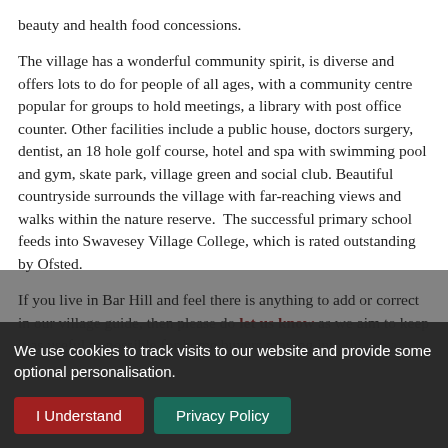beauty and health food concessions.
The village has a wonderful community spirit, is diverse and offers lots to do for people of all ages, with a community centre popular for groups to hold meetings, a library with post office counter. Other facilities include a public house, doctors surgery, dentist, an 18 hole golf course, hotel and spa with swimming pool and gym, skate park, village green and social club. Beautiful countryside surrounds the village with far-reaching views and walks within the nature reserve. The successful primary school feeds into Swavesey Village College, which is rated outstanding by Ofsted.
If you live in Bar Hill and feel there is anything to add or correct in our village guide, then please do let us know as we aim to keep it as useful as possible for home buyers moving into this area.
We use cookies to track visits to our website and provide some optional personalisation.